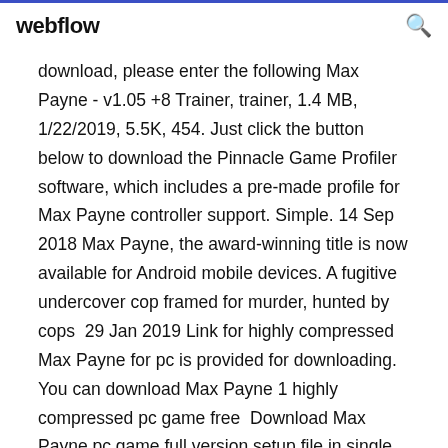webflow
download, please enter the following Max Payne - v1.05 +8 Trainer, trainer, 1.4 MB, 1/22/2019, 5.5K, 454. Just click the button below to download the Pinnacle Game Profiler software, which includes a pre-made profile for Max Payne controller support. Simple. 14 Sep 2018 Max Payne, the award-winning title is now available for Android mobile devices. A fugitive undercover cop framed for murder, hunted by cops  29 Jan 2019 Link for highly compressed Max Payne for pc is provided for downloading. You can download Max Payne 1 highly compressed pc game free  Download Max Payne pc game full version setup file in single,